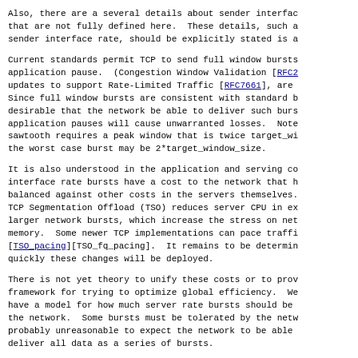Also, there are a several details about sender interface that are not fully defined here.  These details, such a sender interface rate, should be explicitly stated is a
Current standards permit TCP to send full window bursts application pause.  (Congestion Window Validation [RFC2...] updates to support Rate-Limited Traffic [RFC7661], are Since full window bursts are consistent with standard b desirable that the network be able to deliver such burs application pauses will cause unwarranted losses.  Note sawtooth requires a peak window that is twice target_wi the worst case burst may be 2*target_window_size.
It is also understood in the application and serving co interface rate bursts have a cost to the network that h balanced against other costs in the servers themselves. TCP Segmentation Offload (TSO) reduces server CPU in ex larger network bursts, which increase the stress on net memory.  Some newer TCP implementations can pace traffi [TSO_pacing][TSO_fq_pacing].  It remains to be determin quickly these changes will be deployed.
There is not yet theory to unify these costs or to prov framework for trying to optimize global efficiency.  We have a model for how much server rate bursts should be the network.  Some bursts must be tolerated by the netw probably unreasonable to expect the network to be able deliver all data as a series of bursts.